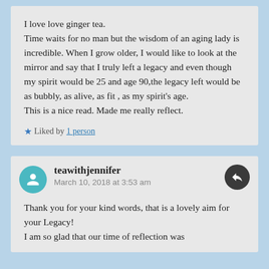I love love ginger tea.
Time waits for no man but the wisdom of an aging lady is incredible. When I grow older, I would like to look at the mirror and say that I truly left a legacy and even though my spirit would be 25 and age 90,the legacy left would be as bubbly, as alive, as fit , as my spirit's age.
This is a nice read. Made me really reflect.
★ Liked by 1 person
teawithjennifer
March 10, 2018 at 3:53 am
Thank you for your kind words, that is a lovely aim for your Legacy!
I am so glad that our time of reflection was